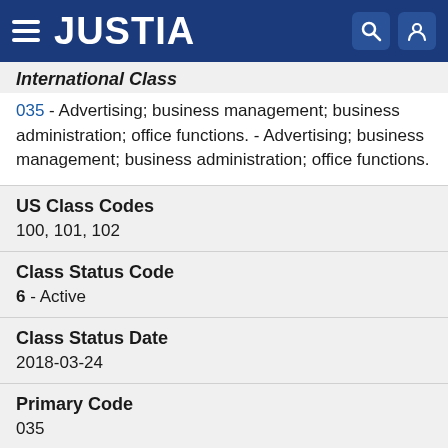JUSTIA
International Class
035 - Advertising; business management; business administration; office functions. - Advertising; business management; business administration; office functions.
US Class Codes
100, 101, 102
Class Status Code
6 - Active
Class Status Date
2018-03-24
Primary Code
035
International Class